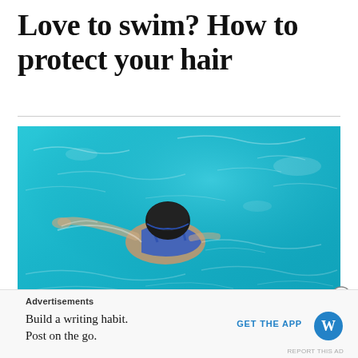Love to swim? How to protect your hair
[Figure (photo): Overhead view of a person wearing a dark swim cap and blue swimsuit swimming in a bright turquoise pool]
Advertisements
Build a writing habit. Post on the go.
GET THE APP